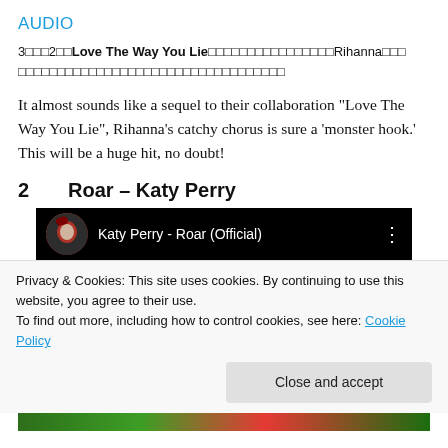AUDIO
3□□□2□□Love The Way You Lie□□□□□□□□□□□□□□□□Rihanna□□□□□□□□□□□□□□□□□□□□□□□□□□□□□□□□□
It almost sounds like a sequel to their collaboration “Love The Way You Lie”, Rihanna’s catchy chorus is sure a ‘monster hook.’ This will be a huge hit, no doubt!
2        Roar – Katy Perry
[Figure (screenshot): Embedded YouTube video player showing Katy Perry - Roar (Official) with avatar thumbnail on dark background]
Privacy & Cookies: This site uses cookies. By continuing to use this website, you agree to their use.
To find out more, including how to control cookies, see here: Cookie Policy
Close and accept